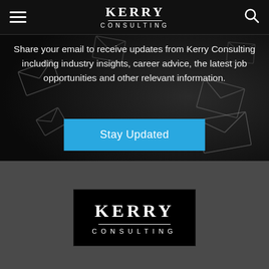[Figure (screenshot): Kerry Consulting website header with hamburger menu on left, Kerry Consulting logo in center, and search icon on right, on dark background]
Share your email to receive updates from Kerry Consulting including industry insights, career advice, the latest job opportunities and other relevant information.
[Figure (screenshot): Stay Updated button in bright blue]
[Figure (logo): Kerry Consulting logo in black box with white text in footer section]